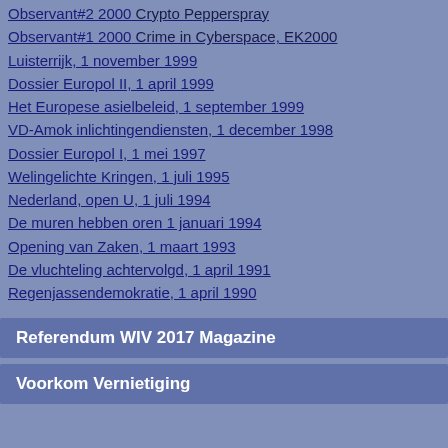Observant#2 2000 Crypto Pepperspray
Observant#1 2000 Crime in Cyberspace, EK2000
Luisterrijk, 1 november 1999
Dossier Europol II, 1 april 1999
Het Europese asielbeleid, 1 september 1999
VD-Amok inlichtingendiensten, 1 december 1998
Dossier Europol I, 1 mei 1997
Welingelichte Kringen, 1 juli 1995
Nederland, open U, 1 juli 1994
De muren hebben oren 1 januari 1994
Opening van Zaken, 1 maart 1993
De vluchteling achtervolgd, 1 april 1991
Regenjassendemokratie, 1 april 1990
Referendum WIV 2017 Magazine
Voorkom Vernietiging